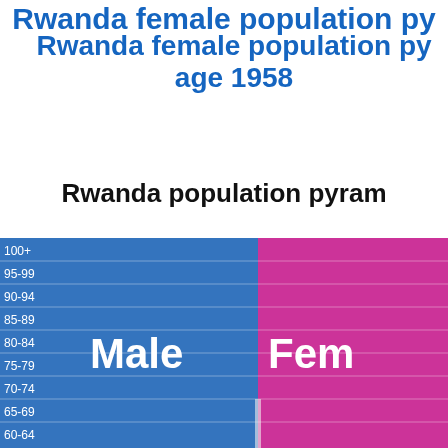Rwanda female population pyramid by age 1958
Rwanda population pyramid
[Figure (bar-chart): Rwanda population pyramid showing male (blue) and female (pink) bars for age groups from 60-64 up to 100+]